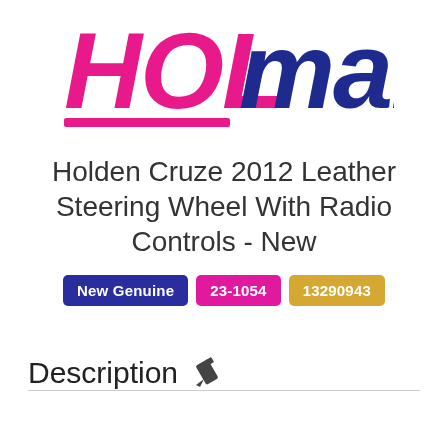[Figure (logo): HOLmart logo — HOL in pink/magenta italic bold, mart in navy blue italic bold, with a pink underline]
Holden Cruze 2012 Leather Steering Wheel With Radio Controls - New
New Genuine  23-1054  13290943
Description ✏